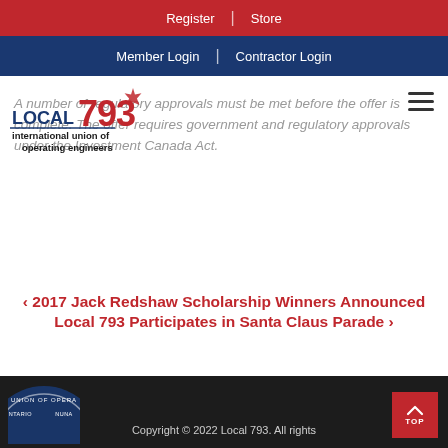Register | Store
Member Login | Contractor Login
[Figure (logo): Local 793 International Union of Operating Engineers logo with maple leaf and red/blue text]
A number of regulatory approvals must be met before the offer is complete. The offer requires government and regulatory approvals under the Investment Canada Act.
< 2017 Jack Redshaw Scholarship Winners Announced
Local 793 Participates in Santa Claus Parade >
Copyright © 2022 Local 793. All rights